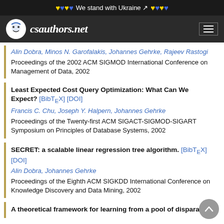♥♥♥♥ We stand with Ukraine ♥♥♥♥
csauthors.net
Alin Dobra, Minos N. Garofalakis, Johannes Gehrke, Rajeev Rastogi
Proceedings of the 2002 ACM SIGMOD International Conference on Management of Data, 2002
Least Expected Cost Query Optimization: What Can We Expect? [BibTeX] [DOI]
Francis C. Chu, Joseph Y. Halpern, Johannes Gehrke
Proceedings of the Twenty-first ACM SIGACT-SIGMOD-SIGART Symposium on Principles of Database Systems, 2002
SECRET: a scalable linear regression tree algorithm. [BibTeX] [DOI]
Alin Dobra, Johannes Gehrke
Proceedings of the Eighth ACM SIGKDD International Conference on Knowledge Discovery and Data Mining, 2002
A theoretical framework for learning from a pool of disparate